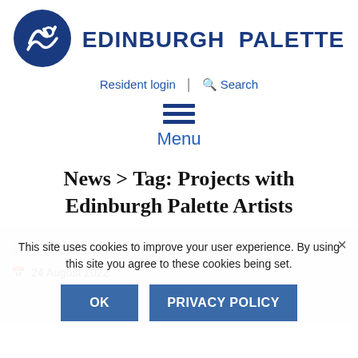[Figure (logo): Edinburgh Palette logo: circular blue emblem with white artistic design (brush/palette imagery)]
EDINBURGH PALETTE
Resident login  |  Search
[Figure (illustration): Hamburger menu icon (three horizontal blue lines)]
Menu
News > Tag: Projects with Edinburgh Palette Artists
COMMUNITY YOGA CLASSES
24 August 2022
This site uses cookies to improve your user experience. By using this site you agree to these cookies being set.
OK
PRIVACY POLICY